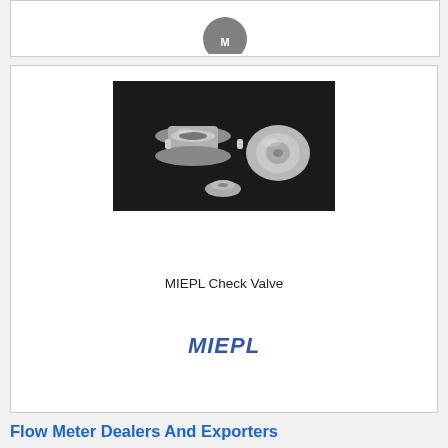[Figure (logo): Partial circular logo visible at top of page]
[Figure (photo): Photo of MIEPL Check Valve - stainless steel check valves, showing two assembled valves and one disassembled component on a dark background]
MIEPL Check Valve
[Figure (logo): MIEPL brand logo in italic blue text]
Flow Meter Dealers And Exporters